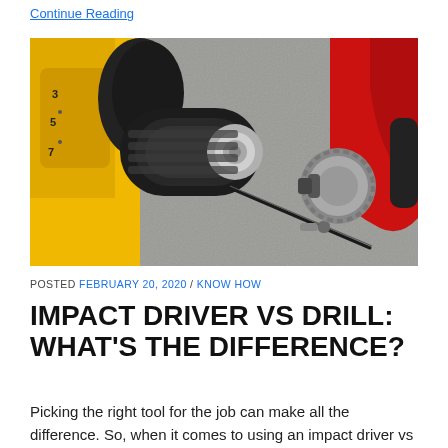Continue Reading
[Figure (photo): Two power tools on a concrete surface: a yellow DeWalt drill/driver on the left with a black chuck, and a red Milwaukee impact driver on the right with a silver chuck. A drill bit lies between them.]
POSTED FEBRUARY 20, 2020 / KNOW HOW
IMPACT DRIVER VS DRILL: WHAT'S THE DIFFERENCE?
Picking the right tool for the job can make all the difference. So, when it comes to using an impact driver vs drill, which is the right